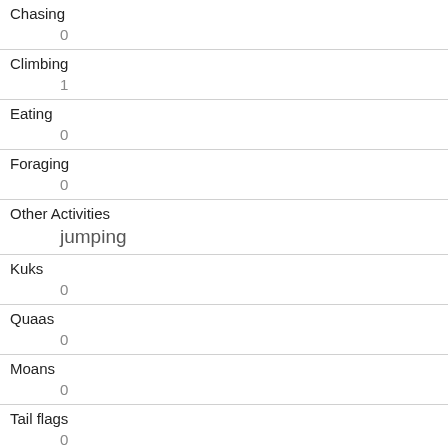| Field | Value |
| --- | --- |
| Chasing | 0 |
| Climbing | 1 |
| Eating | 0 |
| Foraging | 0 |
| Other Activities | jumping |
| Kuks | 0 |
| Quaas | 0 |
| Moans | 0 |
| Tail flags | 0 |
| Tail twitches | 0 |